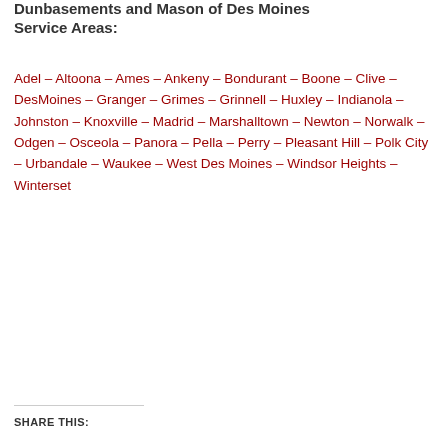Dunbasements and Mason of Des Moines Service Areas:
Adel – Altoona – Ames – Ankeny – Bondurant – Boone – Clive – DesMoines – Granger – Grimes – Grinnell – Huxley – Indianola – Johnston – Knoxville – Madrid – Marshalltown – Newton – Norwalk – Odgen – Osceola – Panora – Pella – Perry – Pleasant Hill – Polk City – Urbandale – Waukee – West Des Moines – Windsor Heights – Winterset
SHARE THIS: